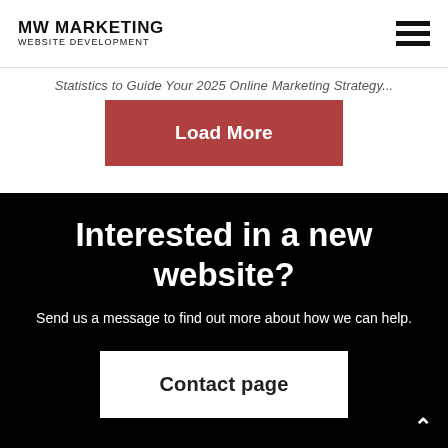MW MARKETING WEBSITE DEVELOPMENT
Statistics to Guide Your 2025 Online Marketing Strategy...
Load More
Interested in a new website?
Send us a message to find out more about how we can help.
Contact page